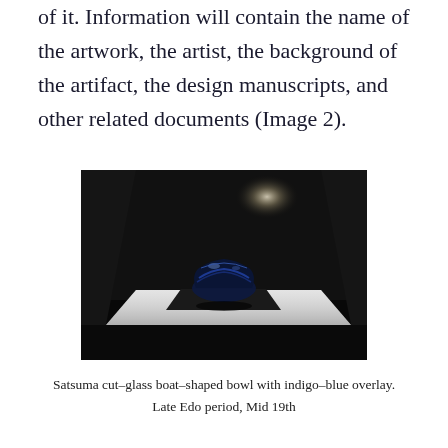of it. Information will contain the name of the artwork, the artist, the background of the artifact, the design manuscripts, and other related documents (Image 2).
[Figure (photo): A Satsuma cut-glass boat-shaped bowl with indigo-blue overlay, photographed on a dark display stand against a black background with a spotlight above.]
Satsuma cut-glass boat-shaped bowl with indigo-blue overlay. Late Edo period, Mid 19th